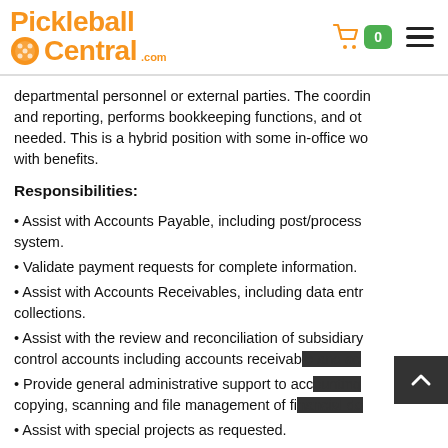Pickleball Central
departmental personnel or external parties. The coordinator and reporting, performs bookkeeping functions, and other tasks as needed. This is a hybrid position with some in-office work with benefits.
Responsibilities:
Assist with Accounts Payable, including post/process system.
Validate payment requests for complete information.
Assist with Accounts Receivables, including data entry collections.
Assist with the review and reconciliation of subsidiary control accounts including accounts receivable and accounts payable.
Provide general administrative support to accounting including copying, scanning and file management of financial documents.
Assist with special projects as requested.